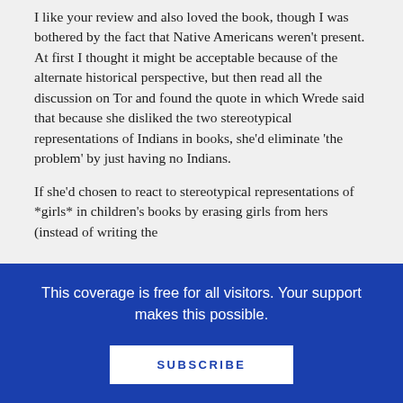I like your review and also loved the book, though I was bothered by the fact that Native Americans weren't present. At first I thought it might be acceptable because of the alternate historical perspective, but then read all the discussion on Tor and found the quote in which Wrede said that because she disliked the two stereotypical representations of Indians in books, she'd eliminate 'the problem' by just having no Indians.
If she'd chosen to react to stereotypical representations of *girls* in children's books by erasing girls from hers (instead of writing the
This coverage is free for all visitors. Your support makes this possible.
SUBSCRIBE